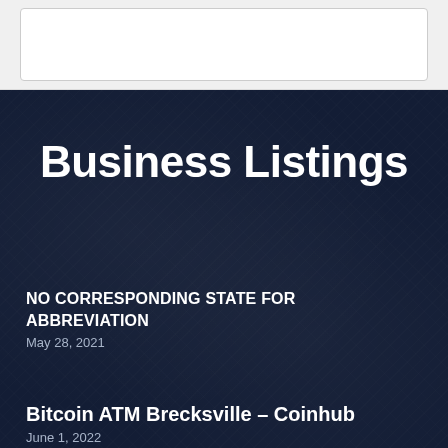[Figure (other): Top section with a white card/box on a light gray background]
Business Listings
NO CORRESPONDING STATE FOR ABBREVIATION
May 28, 2021
Bitcoin ATM Brecksville – Coinhub
June 1, 2022